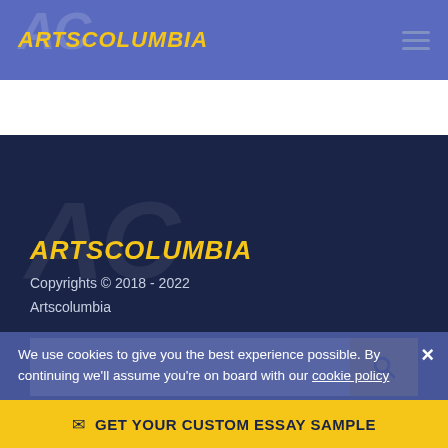ARTSCOLUMBIA
[Figure (logo): ArtsColumbia logo with AC watermark and yellow bold italic ARTSCOLUMBIA text on blue header]
ARTSCOLUMBIA
Copyrights © 2018 - 2022 Artscolumbia
[Figure (screenshot): Search input field with yellow search button containing magnifying glass icon]
We use cookies to give you the best experience possible. By continuing we'll assume you're on board with our cookie policy
COMPANY
About us
LEGAL
Terms of Use
GET YOUR CUSTOM ESSAY SAMPLE